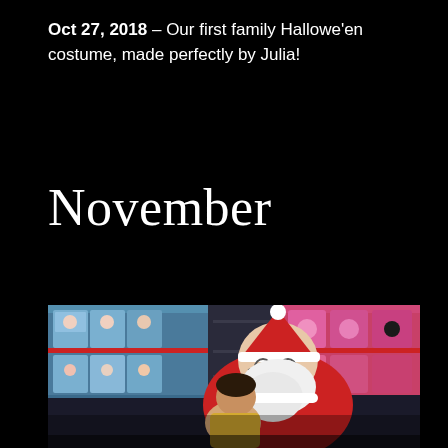Oct 27, 2018 – Our first family Hallowe'en costume, made perfectly by Julia!
November
[Figure (photo): A person dressed in a Santa Claus costume sitting in what appears to be a toy store with shelves of toys visible in the background, with a young child sitting on Santa's lap.]